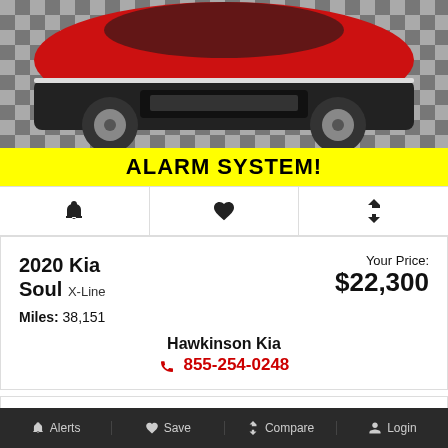[Figure (photo): Red and black Kia Soul X-Line vehicle photographed from front/above angle on checkered floor]
ALARM SYSTEM!
[Figure (infographic): Three icon buttons: bell/alerts icon, heart/save icon, compare arrows icon]
2020 Kia Soul X-Line
Miles: 38,151
Your Price: $22,300
Hawkinson Kia
855-254-0248
[Figure (photo): Hawkinson Nissan advertisement banner with accessibility icon, Hawkinson Nissan Matteson Auto Mall logo, HawkinsonNissan.com, NATIONWIDE DELIVERY AVAILABLE]
[Figure (photo): Dark colored car partially visible from above/side angle]
Alerts  Save  Compare  Login